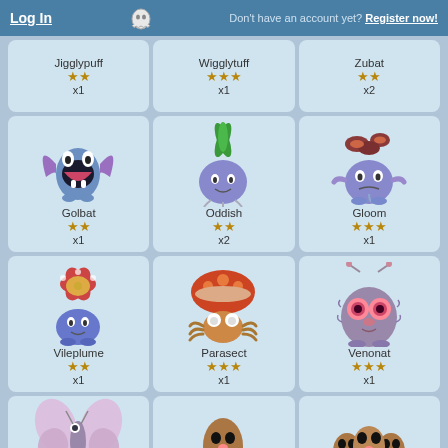Log In | Don't have an account yet? Register now!
[Figure (other): Jigglypuff card: 2 stars, x1]
[Figure (other): Wigglytuff card: 3 stars, x1]
[Figure (other): Zubat card: 2 stars, x2]
[Figure (other): Golbat card: 2 stars, x1]
[Figure (other): Oddish card: 2 stars, x2]
[Figure (other): Gloom card: 3 stars, x1]
[Figure (other): Vileplume card: 2 stars, x1]
[Figure (other): Parasect card: 3 stars, x1]
[Figure (other): Venonat card: 3 stars, x1]
[Figure (other): Butterfly-like Pokemon card (partially visible)]
[Figure (other): Diglett-like Pokemon card (partially visible)]
[Figure (other): Dugtrio-like Pokemon card (partially visible)]